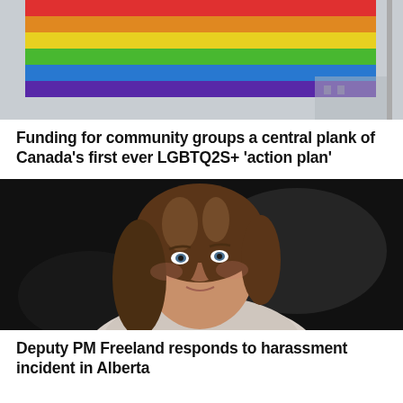[Figure (photo): A rainbow Pride flag waving against a grey sky, with a building visible in the background.]
Funding for community groups a central plank of Canada's first ever LGBTQ2S+ 'action plan'
[Figure (photo): Portrait photo of a woman with long brown hair, wearing a light-coloured top, looking upward in a dark setting. This is Deputy PM Chrystia Freeland.]
Deputy PM Freeland responds to harassment incident in Alberta